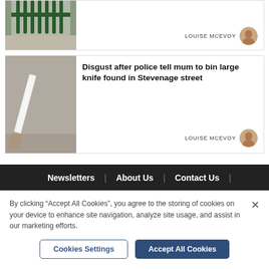[Figure (photo): Article card 1 partial: photo of green iron gate/fence with pavement, partially cropped at top]
LOUISE MCEVOY
[Figure (photo): Article card 2: photo of a large white kitchen knife against a grey concrete/paved surface]
Disgust after police tell mum to bin large knife found in Stevenage street
LOUISE MCEVOY
Newsletters | About Us | Contact Us |
By clicking “Accept All Cookies”, you agree to the storing of cookies on your device to enhance site navigation, analyze site usage, and assist in our marketing efforts.
Cookies Settings
Accept All Cookies